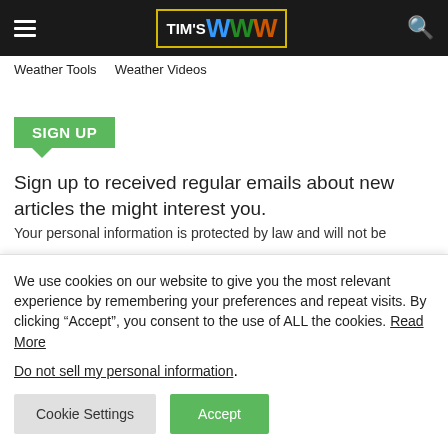TIM'S WWW
Weather Tools   Weather Videos
SIGN UP
Sign up to received regular emails about new articles the might interest you.
Your personal information is protected by law and will not be
We use cookies on our website to give you the most relevant experience by remembering your preferences and repeat visits. By clicking “Accept”, you consent to the use of ALL the cookies. Read More
Do not sell my personal information.
Cookie Settings   Accept